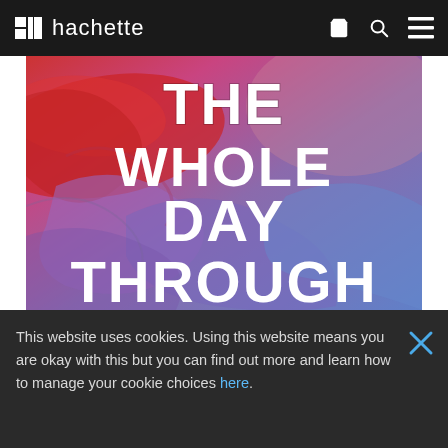hachette
[Figure (illustration): Book cover for 'The Whole Day Through' showing rumpled colorful bedsheets in red, purple and blue tones with large white bold text overlaid reading THE WHOLE DAY THROUGH]
This website uses cookies. Using this website means you are okay with this but you can find out more and learn how to manage your cookie choices here.